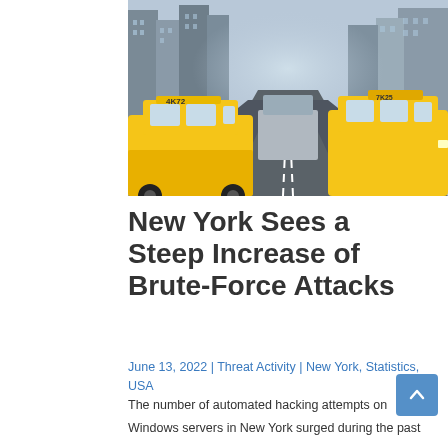[Figure (photo): New York City street scene with two yellow taxi cabs in the foreground and tall skyscrapers lining the street in the background.]
New York Sees a Steep Increase of Brute-Force Attacks
June 13, 2022 | Threat Activity | New York, Statistics, USA
The number of automated hacking attempts on Windows servers in New York surged during the past